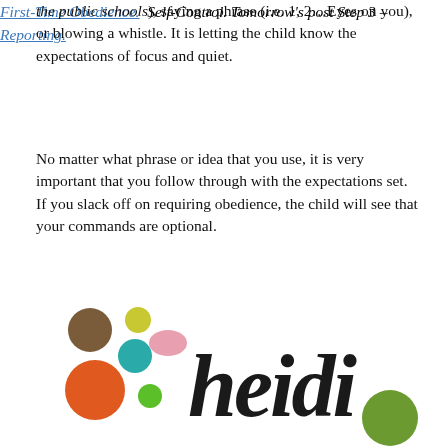the public schools), saying a phrase (i.e. 1, 2…Eyes on you), or blowing a whistle.   It is letting the child know the expectations of focus and quiet.
No matter what phrase or idea that you use, it is very important that you follow through with the expectations set.  If you slack off on requiring obedience, the child will see that your commands are optional.
First-Time Obedience.  Self-Control.  Tomorrow's post Step 3 – Reporting.
[Figure (logo): Heidi brand logo with colorful dots (brown, yellow-green, teal, pink, orange, green, olive) and the word 'heidi' in large italic script]